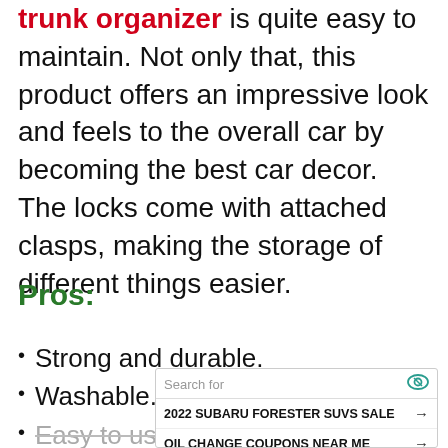trunk organizer is quite easy to maintain. Not only that, this product offers an impressive look and feels to the overall car by becoming the best car decor. The locks come with attached clasps, making the storage of different things easier.
Pros:
Strong and durable.
Washable.
Easy to use
[Figure (other): Advertisement overlay with search bar showing 'Search for', two ad rows: '2022 SUBARU FORESTER SUVS SALE' and 'OIL CHANGE COUPONS NEAR ME', and footer 'Ad | Glocal Search']